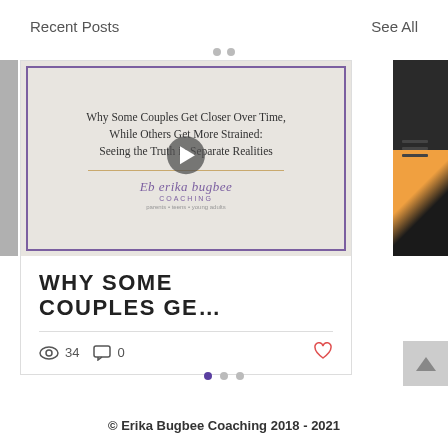Recent Posts
See All
[Figure (screenshot): Blog post card showing a video thumbnail titled 'Why Some Couples Get Closer Over Time, While Others Get More Strained: Seeing the Truth in Separate Realities' with Erika Bugbee Coaching logo, a play button, and post metadata showing 34 views and 0 comments.]
WHY SOME COUPLES GE…
34
0
© Erika Bugbee Coaching 2018 - 2021